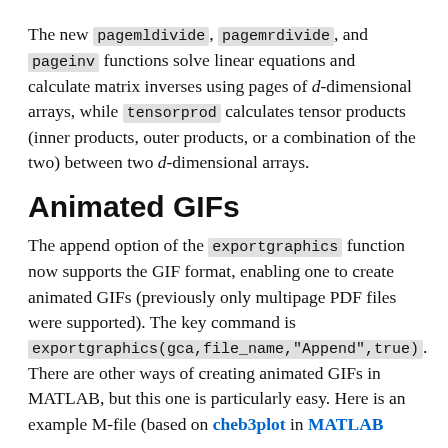The new pagemldivide, pagemrdivide, and pageinv functions solve linear equations and calculate matrix inverses using pages of d-dimensional arrays, while tensorprod calculates tensor products (inner products, outer products, or a combination of the two) between two d-dimensional arrays.
Animated GIFs
The append option of the exportgraphics function now supports the GIF format, enabling one to create animated GIFs (previously only multipage PDF files were supported). The key command is exportgraphics(gca,file_name,"Append",true). There are other ways of creating animated GIFs in MATLAB, but this one is particularly easy. Here is an example M-file (based on cheb3plot in MATLAB